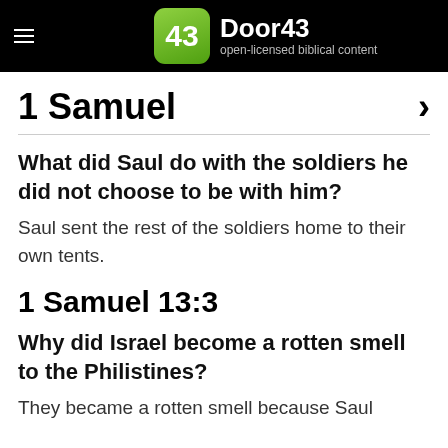Door43 open-licensed biblical content
1 Samuel
What did Saul do with the soldiers he did not choose to be with him?
Saul sent the rest of the soldiers home to their own tents.
1 Samuel 13:3
Why did Israel become a rotten smell to the Philistines?
They became a rotten smell because Saul had defeated the garrison of the Philistines.